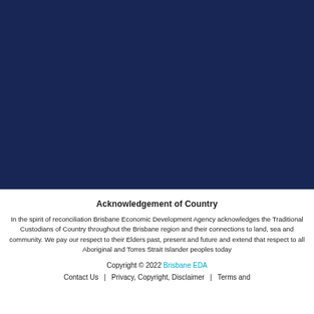[Figure (other): Dark navy blue background image occupying the top portion of the page]
Acknowledgement of Country
In the spirit of reconciliation Brisbane Economic Development Agency acknowledges the Traditional Custodians of Country throughout the Brisbane region and their connections to land, sea and community. We pay our respect to their Elders past, present and future and extend that respect to all Aboriginal and Torres Strait Islander peoples today
Copyright © 2022 Brisbane EDA
Contact Us | Privacy, Copyright, Disclaimer | Terms and